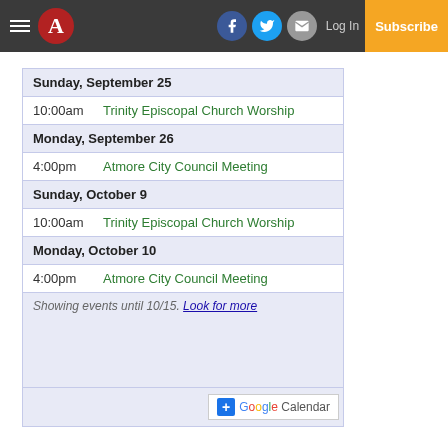Navigation bar with hamburger menu, A logo, Facebook, Twitter, Email icons, Log In, Subscribe
Sunday, September 25
10:00am  Trinity Episcopal Church Worship
Monday, September 26
4:00pm  Atmore City Council Meeting
Sunday, October 9
10:00am  Trinity Episcopal Church Worship
Monday, October 10
4:00pm  Atmore City Council Meeting
Showing events until 10/15. Look for more